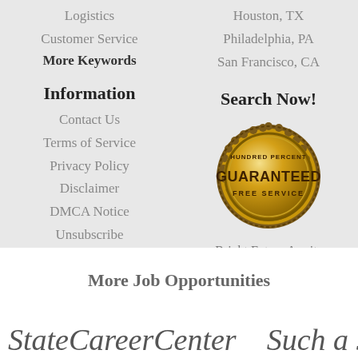Logistics
Customer Service
More Keywords
Houston, TX
Philadelphia, PA
San Francisco, CA
Information
Search Now!
Contact Us
Terms of Service
Privacy Policy
Disclaimer
DMCA Notice
Unsubscribe
[Figure (illustration): Gold circular badge with text: HUNDRED PERCENT GUARANTEED FREE SERVICE]
Bright Future Awaits
More Job Opportunities
StateCareerCenter   Such a Job!